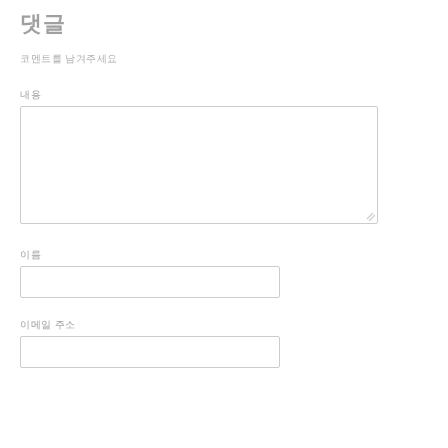댓글
코멘트를 남겨주세요
내용
[Figure (other): Large text area input field for comment content]
이름
[Figure (other): Single line text input field for name]
이메일 주소
[Figure (other): Single line text input field for email address]